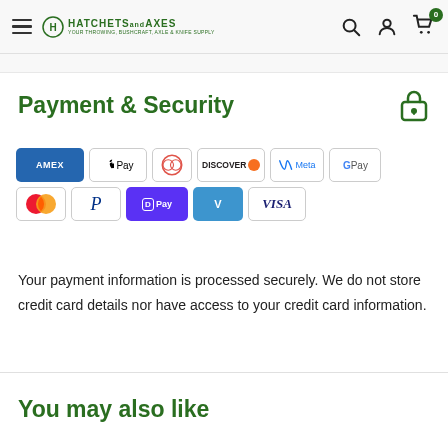HATCHETS and AXES — navigation header with search, account, cart icons
Payment & Security
[Figure (infographic): Payment method logos: Amex, Apple Pay, Diners, Discover, Meta, Google Pay, Mastercard, PayPal, Shopify Pay, Venmo, Visa]
Your payment information is processed securely. We do not store credit card details nor have access to your credit card information.
You may also like